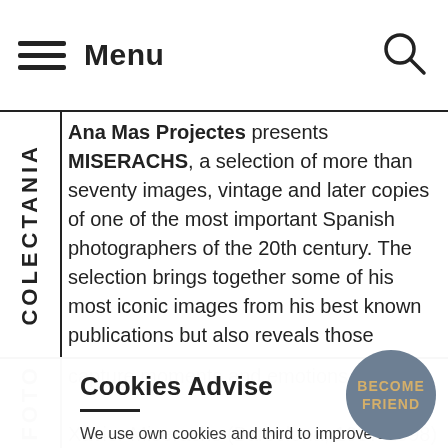Menu
Ana Mas Projectes presents MISERACHS, a selection of more than seventy images, vintage and later copies of one of the most important Spanish photographers of the 20th century. The selection brings together some of his most iconic images from his best known publications but also reveals those photographs of a more intimate and personal character that demonstrate an extraordinary ability to capture moments and emotions.
Xavier Miserachs (Barcelona, 1937-1998) was a distinguished representative of that young and talented generation that emerged with an extraordinary will to renovate Catalan and Spanish photography.
Cookies Advise
We use own cookies and third to improve our services. If you continue browsing, we consider you accept its use.